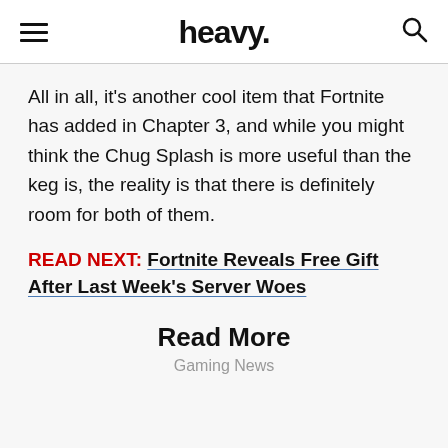heavy.
All in all, it’s another cool item that Fortnite has added in Chapter 3, and while you might think the Chug Splash is more useful than the keg is, the reality is that there is definitely room for both of them.
READ NEXT: Fortnite Reveals Free Gift After Last Week’s Server Woes
Read More
Gaming News